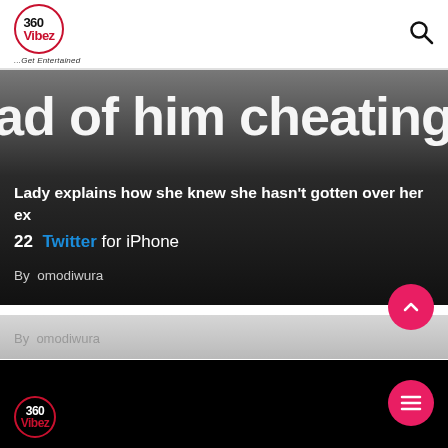360Vibez ...Get Entertained
[Figure (screenshot): Hero card with dark gradient background showing partial large text 'ad of him cheating on me.' and article title overlay]
Lady explains how she knew she hasn't gotten over her ex
22  Twitter for iPhone
By omodiwura
By omodiwura (second card, grayed out)
360Vibez